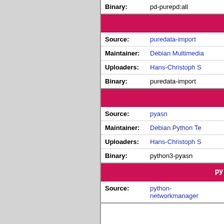| Binary: | pd-purepd:all |
| Source: | puredata-import |
| Maintainer: | Debian Multimedia... |
| Uploaders: | Hans-Christoph S... |
| Binary: | puredata-import |
| Source: | pyasn |
| Maintainer: | Debian Python Te... |
| Uploaders: | Hans-Christoph S... |
| Binary: | python3-pyasn |
py...
| Source: | python-networkmanager |